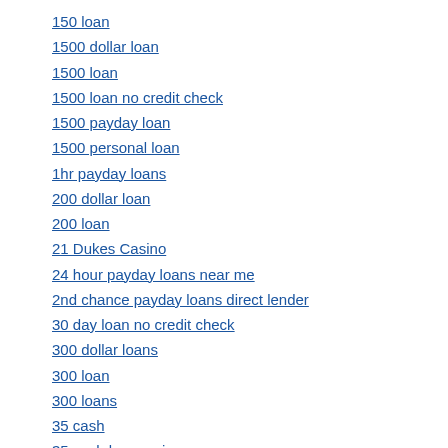150 loan
1500 dollar loan
1500 loan
1500 loan no credit check
1500 payday loan
1500 personal loan
1hr payday loans
200 dollar loan
200 loan
21 Dukes Casino
24 hour payday loans near me
2nd chance payday loans direct lender
30 day loan no credit check
300 dollar loans
300 loan
300 loans
35 cash
35 cash loan review
35 cash loan reviews